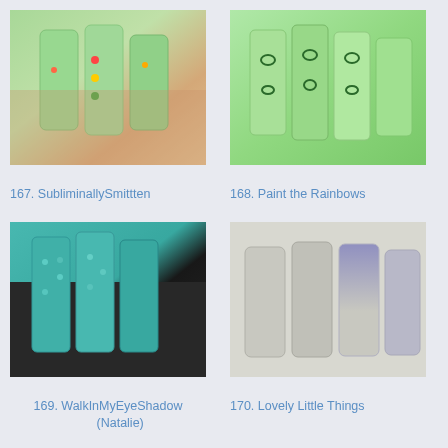[Figure (photo): Close-up of nails painted mint green with colorful dots]
167. SubliminallySmitten
[Figure (photo): Close-up of nails painted green with leopard print pattern]
168. Paint the Rainbows
[Figure (photo): Close-up of nails painted teal with dotticure pattern on dark background]
169. WalkInMyEyeShadow (Natalie)
[Figure (photo): Close-up of nails painted grey with blue gradient tips]
170. Lovely Little Things
[Figure (photo): Close-up of nails painted mint with blue floral stamping]
[Figure (photo): Close-up of nails painted light green with black dots and Orly polish bottle]